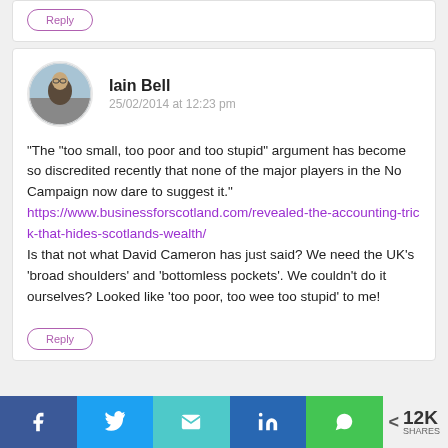Reply
Iain Bell
25/02/2014 at 12:23 pm
“The “too small, too poor and too stupid” argument has become so discredited recently that none of the major players in the No Campaign now dare to suggest it.” https://www.businessforscotland.com/revealed-the-accounting-trick-that-hides-scotlands-wealth/ Is that not what David Cameron has just said? We need the UK’s ‘broad shoulders’ and ‘bottomless pockets’. We couldn’t do it ourselves? Looked like ‘too poor, too wee too stupid’ to me!
Reply
12K SHARES